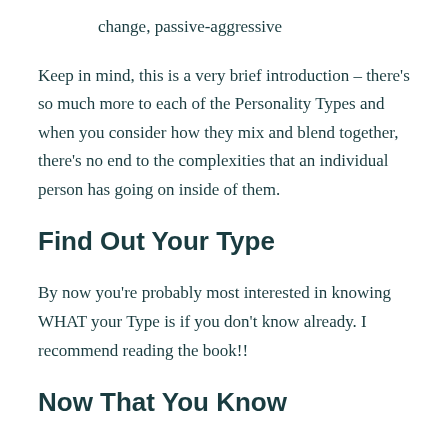change, passive-aggressive
Keep in mind, this is a very brief introduction – there's so much more to each of the Personality Types and when you consider how they mix and blend together, there's no end to the complexities that an individual person has going on inside of them.
Find Out Your Type
By now you're probably most interested in knowing WHAT your Type is if you don't know already. I recommend reading the book!!
Now That You Know